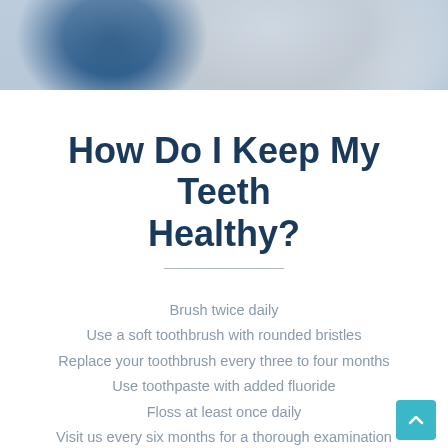[Figure (photo): Photo of dental professionals / people in medical attire, cropped at top of page]
How Do I Keep My Teeth Healthy?
Brush twice daily
Use a soft toothbrush with rounded bristles
Replace your toothbrush every three to four months
Use toothpaste with added fluoride
Floss at least once daily
Visit us every six months for a thorough examination and clean